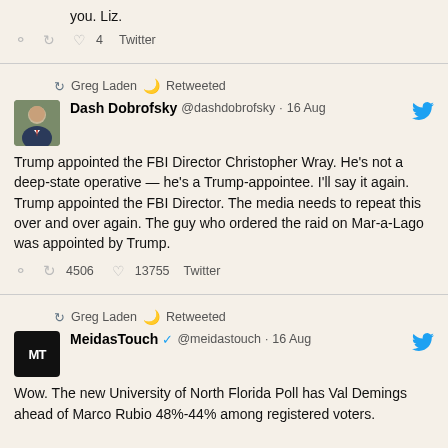you. Liz.
4  Twitter (footer icons)
Greg Laden 🌙 Retweeted
Dash Dobrofsky @dashdobrofsky · 16 Aug
Trump appointed the FBI Director Christopher Wray. He's not a deep-state operative — he's a Trump-appointee. I'll say it again. Trump appointed the FBI Director. The media needs to repeat this over and over again. The guy who ordered the raid on Mar-a-Lago was appointed by Trump.
4506  13755  Twitter
Greg Laden 🌙 Retweeted
MeidasTouch ✓ @meidastouch · 16 Aug
Wow. The new University of North Florida Poll has Val Demings ahead of Marco Rubio 48%-44% among registered voters.

This poll was previously 46%-36% in Rubio's favor back in February.